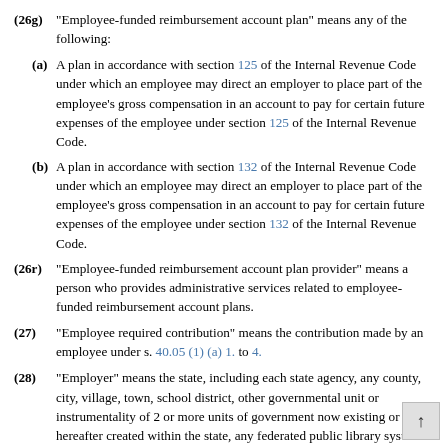(26g) "Employee-funded reimbursement account plan" means any of the following:
(a) A plan in accordance with section 125 of the Internal Revenue Code under which an employee may direct an employer to place part of the employee's gross compensation in an account to pay for certain future expenses of the employee under section 125 of the Internal Revenue Code.
(b) A plan in accordance with section 132 of the Internal Revenue Code under which an employee may direct an employer to place part of the employee's gross compensation in an account to pay for certain future expenses of the employee under section 132 of the Internal Revenue Code.
(26r) "Employee-funded reimbursement account plan provider" means a person who provides administrative services related to employee-funded reimbursement account plans.
(27) "Employee required contribution" means the contribution made by an employee under s. 40.05 (1) (a) 1. to 4.
(28) "Employer" means the state, including each state agency, any county, city, village, town, school district, other governmental unit or instrumentality of 2 or more units of government now existing or hereafter created within the state, any federated public library system established under s. 43.19 whose territory lies within a single county with a population of